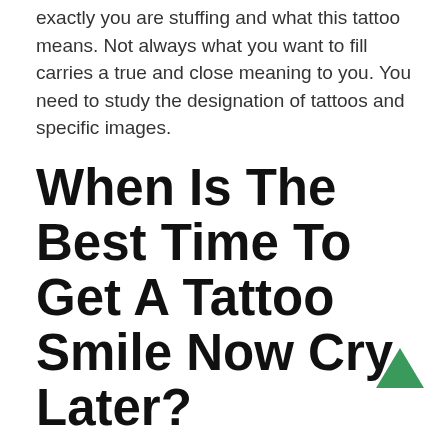exactly you are stuffing and what this tattoo means. Not always what you want to fill carries a true and close meaning to you. You need to study the designation of tattoos and specific images.
When Is The Best Time To Get A Tattoo Smile Now Cry Later?
How to determine the right age for tattooing? Do not forget that the tattoo in all cultures that existed on the planet occupied a certain cultural layer. The older and more experienced the person, the more deliberately he decides to take this step. And when